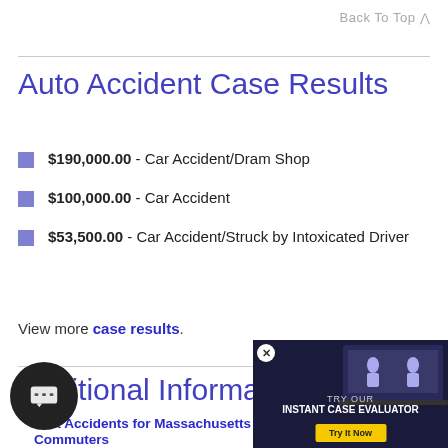Back To Top ^
Auto Accident Case Results
$190,000.00 - Car Accident/Dram Shop
$100,000.00 - Car Accident
$53,500.00 - Car Accident/Struck by Intoxicated Driver
View more case results.
Additional Information
liest Accidents for Massachusetts Commuters